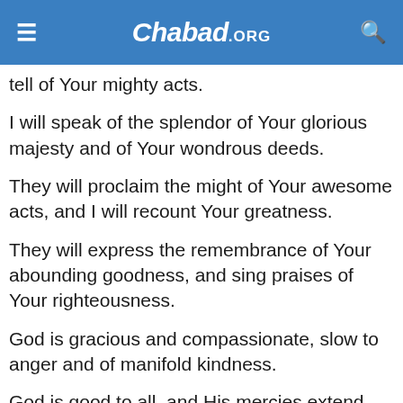Chabad.ORG
tell of Your mighty acts.
I will speak of the splendor of Your glorious majesty and of Your wondrous deeds.
They will proclaim the might of Your awesome acts, and I will recount Your greatness.
They will express the remembrance of Your abounding goodness, and sing praises of Your righteousness.
God is gracious and compassionate, slow to anger and of manifold kindness.
God is good to all, and His mercies extend over all His